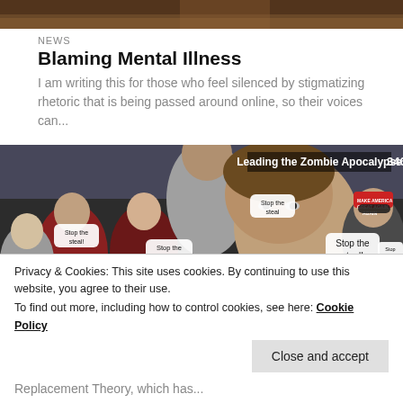[Figure (photo): Top partial image of a crowd scene, cropped at top]
NEWS
Blaming Mental Illness
I am writing this for those who feel silenced by stigmatizing rhetoric that is being passed around online, so their voices can...
[Figure (photo): Zombie apocalypse themed political satire image showing crowd with 'Stop the steal' speech bubbles and 'Leading the Zombie Apocalypse' text overlaid. Number 346 visible in top right.]
Privacy & Cookies: This site uses cookies. By continuing to use this website, you agree to their use.
To find out more, including how to control cookies, see here: Cookie Policy
Close and accept
Replacement Theory, which has...